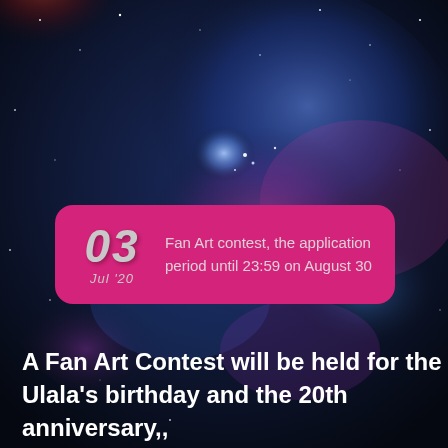[Figure (illustration): Deep space nebula background with dark blue, red, and pink glowing cosmic clouds and stars]
03
Jul '20
Fan Art contest, the application period until 23:59 on August 30
A Fan Art Contest will be held for the Ulala's birthday and the 20th anniversary,, accepting submissions based on the theme of "I ♥(LOVE)  Space Channel 5"...